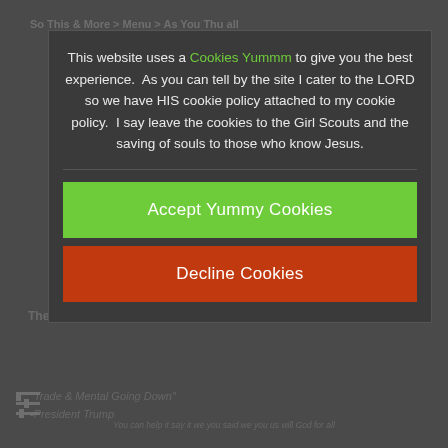This website uses a Cookies Yummm to give you the best experience.  As you can tell by the site I cater to the LORD so we have HIS cookie policy attached to my cookie policy.  I say leave the cookies to the Girl Scouts and the saving of souls to those who know Jesus.
Accept Yummy Cookies
Decline Cookies
The Winning Move And Answer To Islam Does G-D Have A Son?
"Trade & Mental Going Down"
-President Trump
You can help it say it we you said we you us will God for all